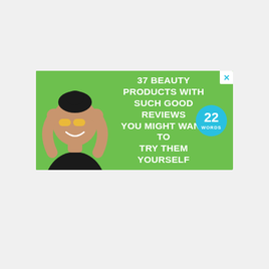[Figure (illustration): Advertisement banner with green background. Left side shows a smiling young woman with face patches/glasses and her hands raised near her face. Center text reads '37 BEAUTY PRODUCTS WITH SUCH GOOD REVIEWS YOU MIGHT WANT TO TRY THEM YOURSELF' in bold white uppercase letters. Right side has a cyan circle badge with '22 WORDS' text. Top-right corner has a white close button with a cyan X.]